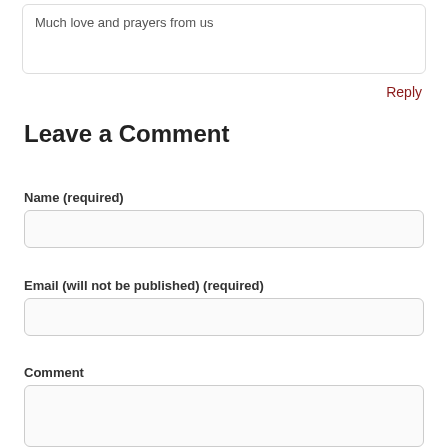Much love and prayers from us
Reply
Leave a Comment
Name (required)
Email (will not be published) (required)
Comment